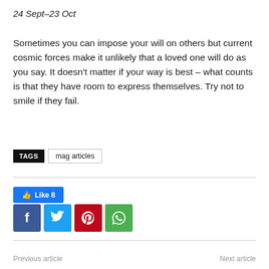24 Sept–23 Oct
Sometimes you can impose your will on others but current cosmic forces make it unlikely that a loved one will do as you say. It doesn't matter if your way is best – what counts is that they have room to express themselves. Try not to smile if they fail.
TAGS  mag articles
[Figure (other): Social media like button showing Like 8, and four social share buttons: Facebook, Twitter, Pinterest, WhatsApp]
Previous article    Next article